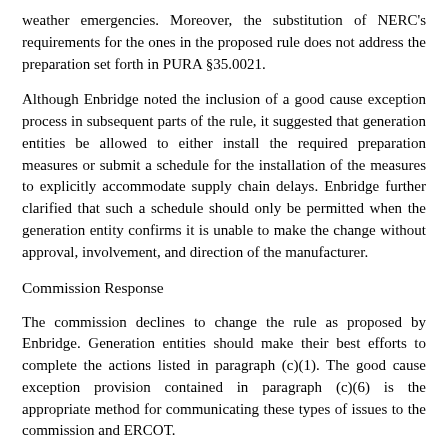weather emergencies. Moreover, the substitution of NERC's requirements for the ones in the proposed rule does not address the preparation set forth in PURA §35.0021.
Although Enbridge noted the inclusion of a good cause exception process in subsequent parts of the rule, it suggested that generation entities be allowed to either install the required preparation measures or submit a schedule for the installation of the measures to explicitly accommodate supply chain delays. Enbridge further clarified that such a schedule should only be permitted when the generation entity confirms it is unable to make the change without approval, involvement, and direction of the manufacturer.
Commission Response
The commission declines to change the rule as proposed by Enbridge. Generation entities should make their best efforts to complete the actions listed in paragraph (c)(1). The good cause exception provision contained in paragraph (c)(6) is the appropriate method for communicating these types of issues to the commission and ERCOT.
In response to the proposed requirement to establish a schedule to test freeze protection components on an ongoing monthly basis, TCPA stated that winter is the only season in which it would be feasible, and other reasons continue to be should be addressed.